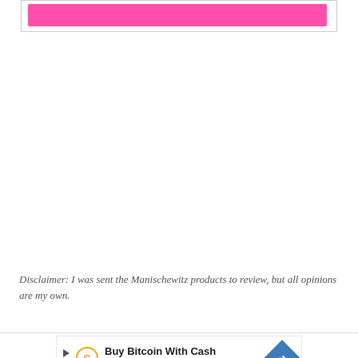[Figure (other): A framed box with a bright pink horizontal bar inside it, at the top of the page]
Disclaimer: I was sent the Manischewitz products to review, but all opinions are my own.
[Figure (other): Advertisement banner: Buy Bitcoin With Cash - CoinFlip Bitcoin ATM, with coin and arrow logo]